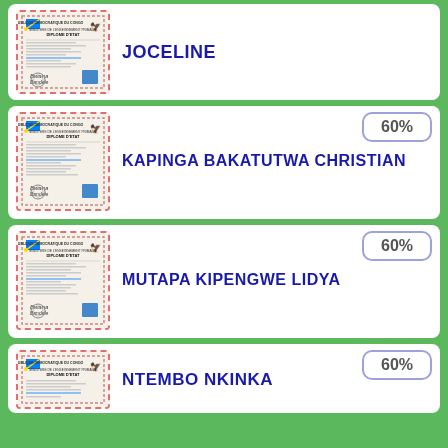[Figure (other): Diplome d'Etat document thumbnail - first card (JOCELINE), no percentage badge visible]
JOCELINE
[Figure (other): Diplome d'Etat document thumbnail - KAPINGA BAKATUTWA CHRISTIAN card]
60%
KAPINGA BAKATUTWA CHRISTIAN
[Figure (other): Diplome d'Etat document thumbnail - MUTAPA KIPENGWE LIDYA card]
60%
MUTAPA KIPENGWE LIDYA
[Figure (other): Diplome d'Etat document thumbnail - NTEMBO NKINKA card (partially visible)]
60%
NTEMBO NKINKA